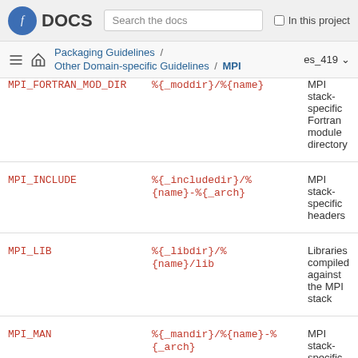Fedora DOCS — Search the docs — In this project
Packaging Guidelines / Other Domain-specific Guidelines / MPI — es_419
| Variable | Default value | Description |
| --- | --- | --- |
| MPI_FORTRAN_MOD_DIR | %{_moddir}/%{name} | MPI stack-specific Fortran module directory |
| MPI_INCLUDE | %{_includedir}/%{name}-%{_arch} | MPI stack-specific headers |
| MPI_LIB | %{_libdir}/%{name}/lib | Libraries compiled against the MPI stack |
| MPI_MAN | %{_mandir}/%{name}-%{_arch} | MPI stack-specific |